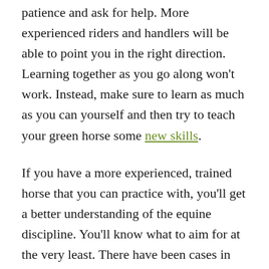patience and ask for help. More experienced riders and handlers will be able to point you in the right direction. Learning together as you go along won't work. Instead, make sure to learn as much as you can yourself and then try to teach your green horse some new skills.
If you have a more experienced, trained horse that you can practice with, you'll get a better understanding of the equine discipline. You'll know what to aim for at the very least. There have been cases in which a new rider was able to bond with a green horse in little to no time. Those are exceptions, however, and should not be viewed as the norm. In general, experienced trainers deal with green horses, and new riders learn the ropes on well-trained equines.
It's safer and more enjoyable for everyone involved...